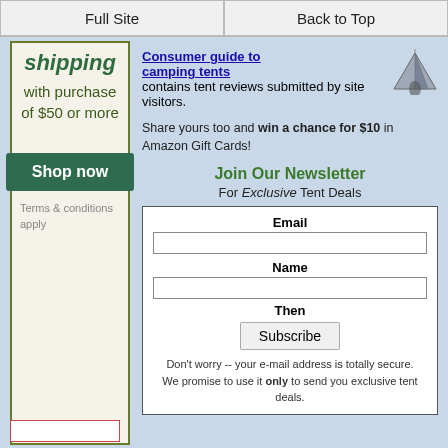Full Site | Back to Top
shipping with purchase of $50 or more
Shop now
Terms & conditions apply
Consumer guide to camping tents contains tent reviews submitted by site visitors.
Share yours too and win a chance for $10 in Amazon Gift Cards!
Join Our Newsletter
For Exclusive Tent Deals
Email
Name
Then
Subscribe
Don't worry -- your e-mail address is totally secure. We promise to use it only to send you exclusive tent deals.